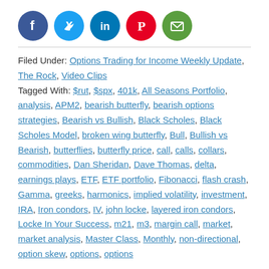[Figure (other): Social sharing icons: Facebook, Twitter, LinkedIn, Pinterest, Email]
Filed Under: Options Trading for Income Weekly Update, The Rock, Video Clips
Tagged With: $rut, $spx, 401k, All Seasons Portfolio, analysis, APM2, bearish butterfly, bearish options strategies, Bearish vs Bullish, Black Scholes, Black Scholes Model, broken wing butterfly, Bull, Bullish vs Bearish, butterflies, butterfly price, call, calls, collars, commodities, Dan Sheridan, Dave Thomas, delta, earnings plays, ETF, ETF portfolio, Fibonacci, flash crash, Gamma, greeks, harmonics, implied volatility, investment, IRA, Iron condors, IV, john locke, layered iron condors, Locke In Your Success, m21, m3, margin call, market, market analysis, Master Class, Monthly, non-directional, option skew, options, options